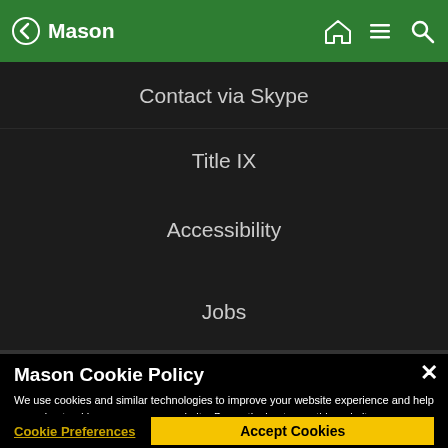Mason
Contact via Skype
Title IX
Accessibility
Jobs
Mason Cookie Policy
We use cookies and similar technologies to improve your website experience and help us understand how you use our website. By continuing to use this website, you consent to the usage of cookies. Learn more about our Cookie Policy
Cookie Preferences
Accept Cookies